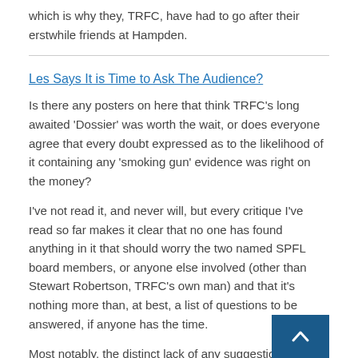which is why they, TRFC, have had to go after their erstwhile friends at Hampden.
Les Says It is Time to Ask The Audience?
Is there any posters on here that think TRFC's long awaited 'Dossier' was worth the wait, or does everyone agree that every doubt expressed as to the likelihood of it containing any 'smoking gun' evidence was right on the money?
I've not read it, and never will, but every critique I've read so far makes it clear that no one has found anything in it that should worry the two named SPFL board members, or anyone else involved (other than Stewart Robertson, TRFC's own man) and that it's nothing more than, at best, a list of questions to be answered, if anyone has the time.
Most notably, the distinct lack of any suggestion